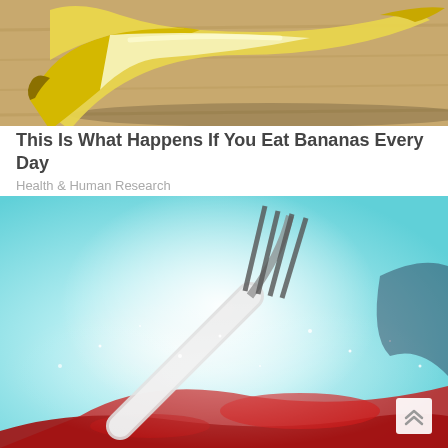[Figure (photo): Close-up photo of a peeled banana resting on a wooden surface with warm yellow lighting]
This Is What Happens If You Eat Bananas Every Day
Health & Human Research
[Figure (photo): High-contrast artistic photo of a fork coated in white powder (sugar/flour) with red sauce/jam visible, set against a bright teal/white background]
[Figure (other): Scroll-to-top button with double chevron up arrow icon in bottom right corner]